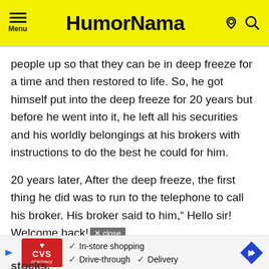HumorNama
people up so that they can be in deep freeze for a time and then restored to life. So, he got himself put into the deep freeze for 20 years but before he went into it, he left all his securities and his worldly belongings at his brokers with instructions to do the best he could for him.
20 years later, After the deep freeze, the first thing he did was to run to the telephone to call his broker. His broker said to him,“ Hello sir! Welcome back!
[Figure (screenshot): CVS Pharmacy advertisement banner showing in-store shopping, drive-through, and delivery options]
stocks.